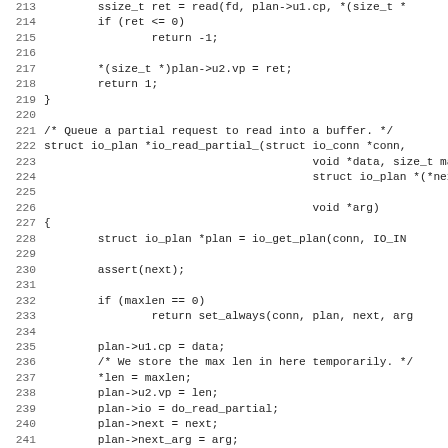[Figure (other): Source code listing in C, lines 213–244, showing functions for reading into a buffer using io_plan structures. Includes do_read_partial and io_read_partial_ function implementations.]